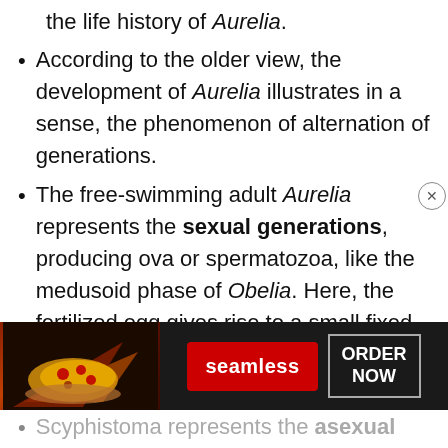the life history of Aurelia.
According to the older view, the development of Aurelia illustrates in a sense, the phenomenon of alternation of generations.
The free-swimming adult Aurelia represents the sexual generations, producing ova or spermatozoa, like the medusoid phase of Obelia. Here, the fertilized egg gives rise to a small fixed polyploid form, or scyphistoma, after [partial]
Scyphistoma represents the asexual [partial]